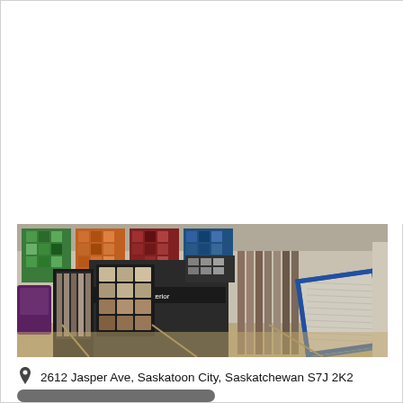[Figure (photo): Interior of a flooring and tile showroom with various sample displays, tile boards, carpet swatches, and flooring material racks arranged throughout the store.]
2612 Jasper Ave, Saskatoon City, Saskatchewan S7J 2K2